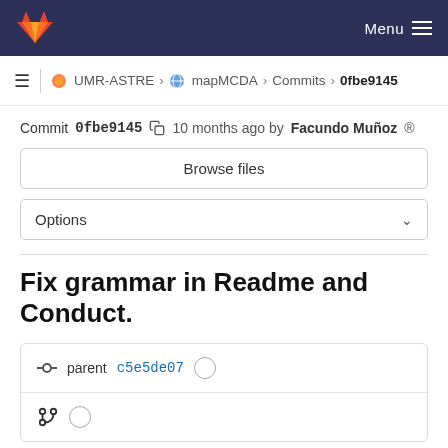GitLab — Menu
UMR-ASTRE > mapMCDA > Commits > 0fbe9145
Commit 0fbe9145  10 months ago by Facundo Muñoz ®
Browse files
Options
Fix grammar in Readme and Conduct.
parent c5e5de07
(merge icon)